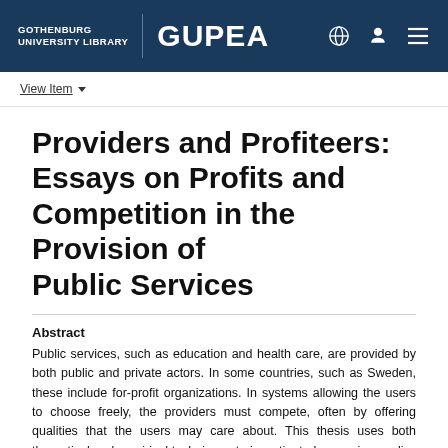GOTHENBURG UNIVERSITY LIBRARY | GUPEA
View Item
Providers and Profiteers: Essays on Profits and Competition in the Provision of Public Services
Abstract
Public services, such as education and health care, are provided by both public and private actors. In some countries, such as Sweden, these include for-profit organizations. In systems allowing the users to choose freely, the providers must compete, often by offering qualities that the users may care about. This thesis uses both theoretical and empirical techniques to investigate how various policy instruments such as preferential tax treatments, measures to intensify competition, and differentiating the